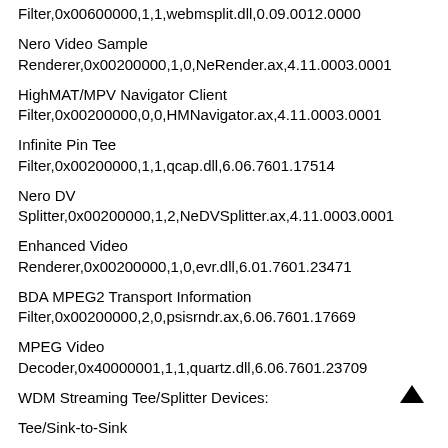Filter,0x00600000,1,1,webmsplit.dll,0.09.0012.0000
Nero Video Sample
Renderer,0x00200000,1,0,NeRender.ax,4.11.0003.0001
HighMAT/MPV Navigator Client
Filter,0x00200000,0,0,HMNavigator.ax,4.11.0003.0001
Infinite Pin Tee Filter,0x00200000,1,1,qcap.dll,6.06.7601.17514
Nero DV Splitter,0x00200000,1,2,NeDVSplitter.ax,4.11.0003.0001
Enhanced Video
Renderer,0x00200000,1,0,evr.dll,6.01.7601.23471
BDA MPEG2 Transport Information
Filter,0x00200000,2,0,psisrndr.ax,6.06.7601.17669
MPEG Video Decoder,0x40000001,1,1,quartz.dll,6.06.7601.23709
WDM Streaming Tee/Splitter Devices:
Tee/Sink-to-Sink